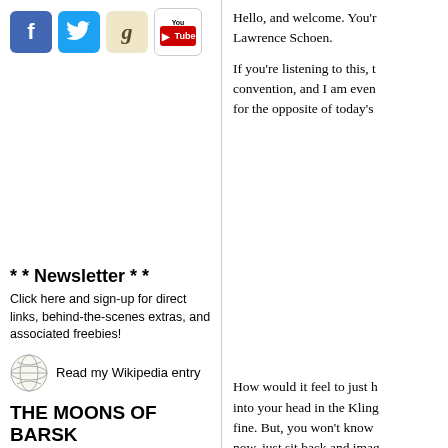[Figure (illustration): Social media icons: Facebook (blue f), Twitter (blue bird t), Goodreads (beige g), YouTube (You Tube red/white logo)]
* * Newsletter * *
Click here and sign-up for direct links, behind-the-scenes extras, and associated freebies!
[Figure (illustration): Wikipedia globe logo icon]
Read my Wikipedia entry
THE MOONS OF BARSK Audio Sample
Veteran actor and director, J. G. Hertler (General Martok to Star Trek: DSN fans) narrates the audio version of The Moons of Barsk. Click to hear him read from the first chapter!
Hello, and welcome. You're Lawrence Schoen.
If you're listening to this, t convention, and I am even for the opposite of today's
How would it feel to just h into your head in the Kling fine. But, you won't know now, just sit back and imag being. qo'mey poSmoH H
===